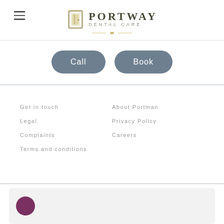[Figure (logo): Portway Dental Care logo with door icon and text]
Call
Book
Get in touch
Legal
Complaints
Terms and conditions
About Portman
Privacy Policy
Careers
[Figure (other): Bottom card with purple circle icon, partially visible]